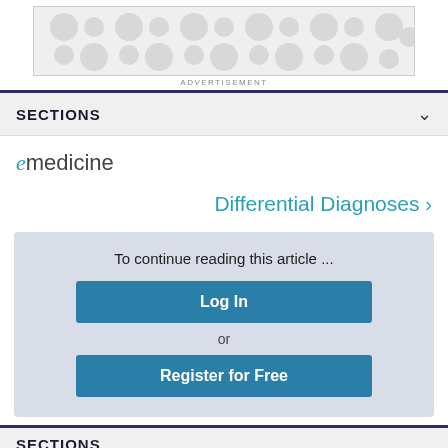[Figure (other): Advertisement banner with grey bubble/dot pattern]
ADVERTISEMENT
SECTIONS
[Figure (logo): eMedicine logo with stylized e in teal and medicine in grey]
Differential Diagnoses >
To continue reading this article ...
Log In
or
Register for Free
SECTIONS